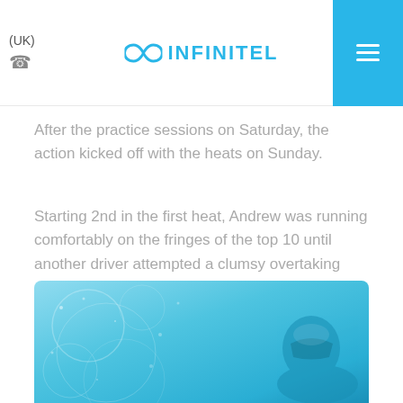(UK)
After the practice sessions on Saturday, the action kicked off with the heats on Sunday.
Starting 2nd in the first heat, Andrew was running comfortably on the fringes of the top 10 until another driver attempted a clumsy overtaking manoeuvre sending Andrew towards the back of the field and crossing the line in 20th position.
[Figure (photo): Racing kart photo with blue/cyan background]